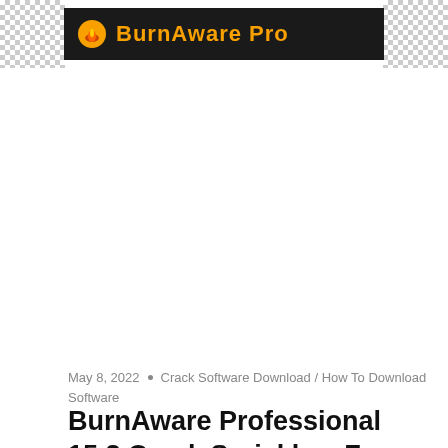[Figure (screenshot): BurnAware Pro software banner logo on dark background with orange text, flanked by checkerboard transparent background pattern on both sides]
May 8, 2022  •  Crack Software Download / How To Download Software
BurnAware Professional 15.3 Crack Serial key Free Download 2022